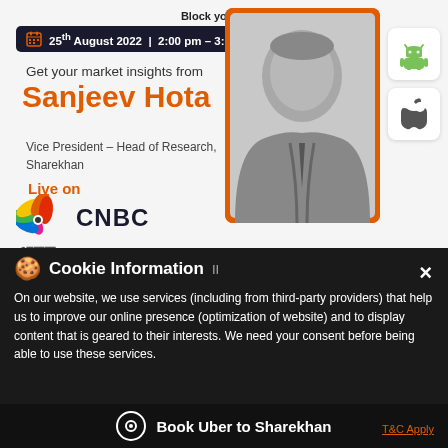Block your date!
25th August 2022 | 2:00 pm – 3:00 pm
Get your market insights from
Sanjeev Hota
Vice President – Head of Research, Sharekhan
Live on
[Figure (logo): CNBC Awaaz logo with NBC peacock feather icon]
[Figure (photo): Black and white portrait photo of Sanjeev Hota in a suit]
[Figure (logo): Android logo green robot icon]
[Figure (logo): Apple logo icon]
Cookie Information
On our website, we use services (including from third-party providers) that help us to improve our online presence (optimization of website) and to display content that is geared to their interests. We need your consent before being able to use these services.
Book Uber to Sharekhan
T&C Apply